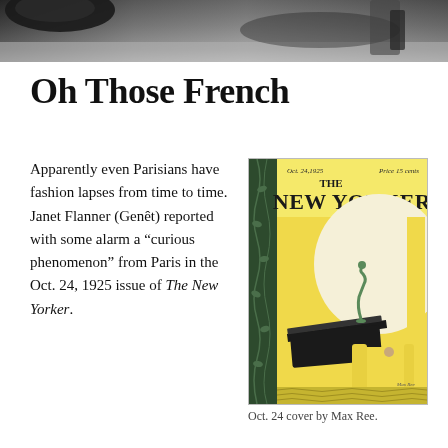[Figure (photo): Black and white photograph cropped at top of page, showing partial outdoor scene with dark shapes]
Oh Those French
Apparently even Parisians have fashion lapses from time to time. Janet Flanner (Genêt) reported with some alarm a “curious phenomenon” from Paris in the Oct. 24, 1925 issue of The New Yorker.
[Figure (illustration): The New Yorker magazine cover, Oct. 24, 1925, priced at 15 cents, illustrated by Max Ree. Yellow and cream art deco design featuring a small green figure/statuette on a piano or table, with large yellow circular shape and dark green decorative border on left side.]
Oct. 24 cover by Max Ree.